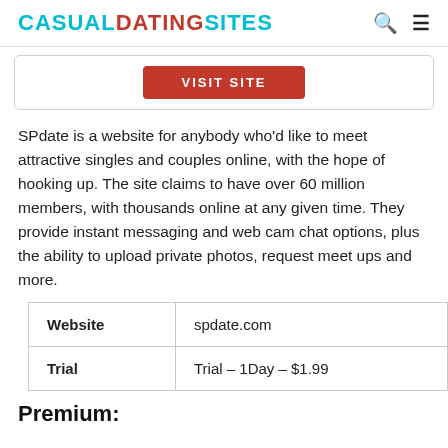CASUALDATINGSITES
[Figure (screenshot): Red VISIT SITE button inside a bordered card]
SPdate is a website for anybody who'd like to meet attractive singles and couples online, with the hope of hooking up. The site claims to have over 60 million members, with thousands online at any given time. They provide instant messaging and web cam chat options, plus the ability to upload private photos, request meet ups and more.
| Website | spdate.com |
| Trial | Trial – 1Day – $1.99 |
Premium: